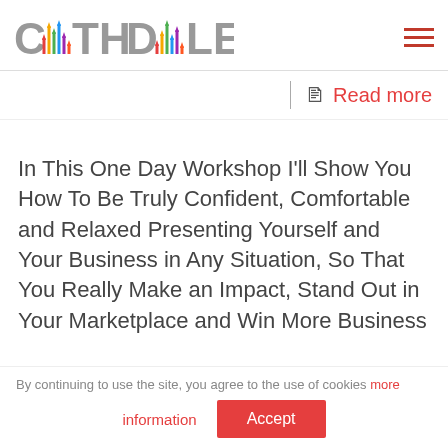[Figure (logo): Cath Daley logo with colourful bar-chart arrows incorporated into the letters A and A]
Read more
In This One Day Workshop I'll Show You How To Be Truly Confident, Comfortable and Relaxed Presenting Yourself and Your Business in Any Situation, So That You Really Make an Impact, Stand Out in Your Marketplace and Win More Business
By continuing to use the site, you agree to the use of cookies more
information
Accept